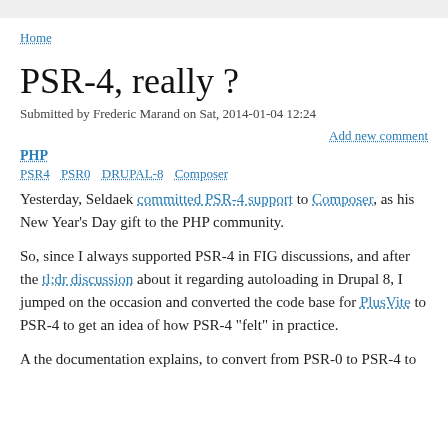Home
PSR-4, really ?
Submitted by Frederic Marand on Sat, 2014-01-04 12:24
Add new comment
PHP
PSR4   PSR0   DRUPAL-8   Composer
Yesterday, Seldaek committed PSR-4 support to Composer, as his New Year's Day gift to the PHP community.
So, since I always supported PSR-4 in FIG discussions, and after the tl;dr discussion about it regarding autoloading in Drupal 8, I jumped on the occasion and converted the code base for PlusVite to PSR-4 to get an idea of how PSR-4 "felt" in practice.
A the documentation explains, to convert from PSR-0 to PSR-4 to ...